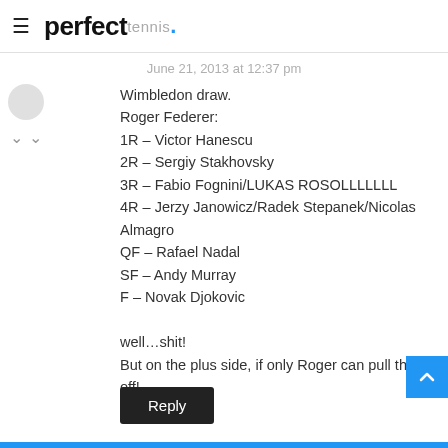perfect tennis.
June 21, 2013 at 12:37 pm
Wimbledon draw.
Roger Federer:
1R – Victor Hanescu
2R – Sergiy Stakhovsky
3R – Fabio Fognini/LUKAS ROSOLLLLLLL
4R – Jerzy Janowicz/Radek Stepanek/Nicolas Almagro
QF – Rafael Nadal
SF – Andy Murray
F – Novak Djokovic

well…shit!
But on the plus side, if only Roger can pull this off!
Reply